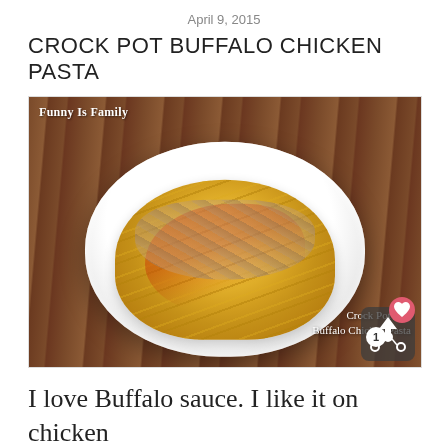April 9, 2015
CROCK POT BUFFALO CHICKEN PASTA
[Figure (photo): A white bowl filled with wide egg noodle fettuccine pasta tossed with shredded chicken and orange buffalo sauce drizzle, placed on a dark wooden table. Watermark reads 'Funny Is Family' in top left and 'Crock Pot Thu... Buffalo Chicken Pasta' in bottom right.]
I love Buffalo sauce. I like it on chicken